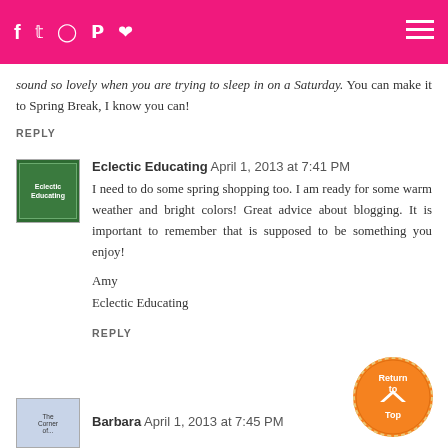social icons and menu
sound so lovely when you are trying to sleep in on a Saturday. You can make it to Spring Break, I know you can!
REPLY
Eclectic Educating April 1, 2013 at 7:41 PM
I need to do some spring shopping too. I am ready for some warm weather and bright colors! Great advice about blogging. It is important to remember that is supposed to be something you enjoy!

Amy
Eclectic Educating
REPLY
Barbara April 1, 2013 at 7:45 PM